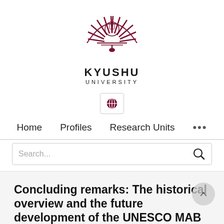[Figure (logo): Kyushu University logo — a stylized sunburst/fan emblem in dark red/maroon above the text KYUSHU UNIVERSITY]
[Figure (screenshot): Navigation bar with globe icon button, Home, Profiles, Research Units, and more (ellipsis) links]
[Figure (screenshot): Search bar with placeholder text 'Search...' and a magnifying glass icon]
Concluding remarks: The historical overview and the future development of the UNESCO MAB program in Japan